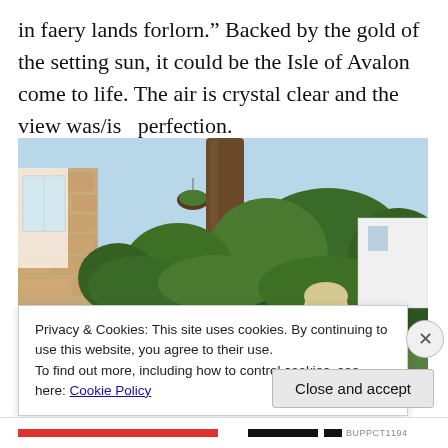in faery lands forlorn.” Backed by the gold of the setting sun, it could be the Isle of Avalon come to life. The air is crystal clear and the view was/is  perfection.
[Figure (photo): Outdoor photograph of an elderly woman with white/blonde hair smiling, standing near a dark object (possibly a barbecue), with a large tree trunk, lush green bushes, a stone-clad building with white windows, and a clear blue sky in the background.]
Privacy & Cookies: This site uses cookies. By continuing to use this website, you agree to their use.
To find out more, including how to control cookies, see here: Cookie Policy
Close and accept